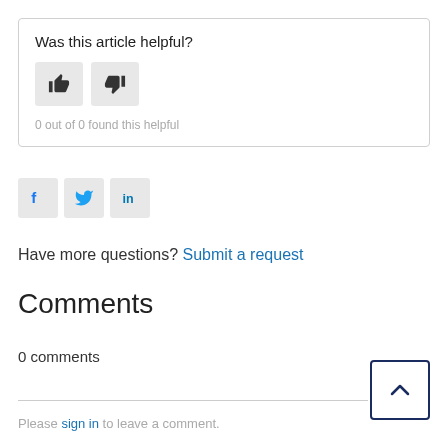Was this article helpful?
[Figure (other): Thumbs up and thumbs down buttons for article feedback]
0 out of 0 found this helpful
[Figure (other): Social sharing buttons: Facebook, Twitter, LinkedIn]
Have more questions? Submit a request
Comments
0 comments
Please sign in to leave a comment.